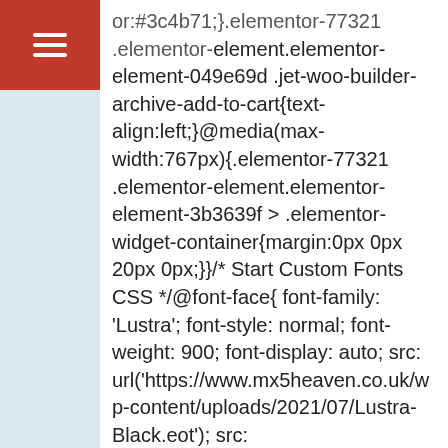[Figure (screenshot): Red navigation header bar with white hamburger menu icon (three horizontal lines)]
or:#3c4b71;}.elementor-77321 .elementor-element.elementor-element-049e69d .jet-woo-builder-archive-add-to-cart{text-align:left;}@media(max-width:767px){.elementor-77321 .elementor-element.elementor-element-3b3639f > .elementor-widget-container{margin:0px 0px 20px 0px;}}/* Start Custom Fonts CSS */@font-face{ font-family: 'Lustra'; font-style: normal; font-weight: 900; font-display: auto; src: url('https://www.mx5heaven.co.uk/wp-content/uploads/2021/07/Lustra-Black.eot'); src: url('https://www.mx5heaven.co.uk/wp-content/uploads/2021/07/Lustra-Black.eot?#iefix') format('embedded-opentype'), url('https://www.mx5heaven.co.uk/wp-content/uploads/2021/07/Lustra-Bold.woff2')